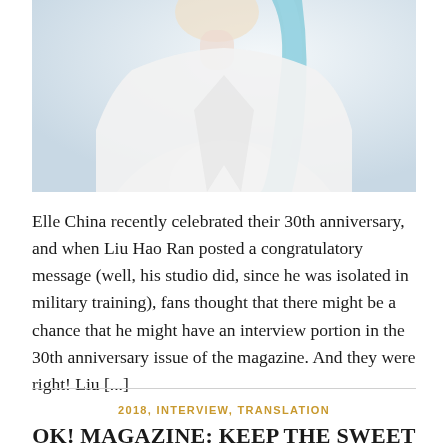[Figure (photo): Cropped photo of a person wearing a white garment with a light blue/teal accent, photographed against a light background. Only the lower face, neck, and upper body are visible.]
Elle China recently celebrated their 30th anniversary, and when Liu Hao Ran posted a congratulatory message (well, his studio did, since he was isolated in military training), fans thought that there might be a chance that he might have an interview portion in the 30th anniversary issue of the magazine. And they were right! Liu [...]
2018, INTERVIEW, TRANSLATION
OK! MAGAZINE: KEEP THE SWEET YOUTH